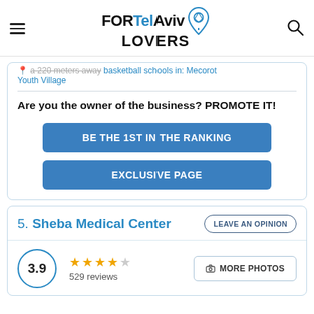FOR Tel Aviv LOVERS
a 220 meters away basketball schools in: Mecorot Youth Village
Are you the owner of the business? PROMOTE IT!
BE THE 1ST IN THE RANKING
EXCLUSIVE PAGE
5. Sheba Medical Center
3.9  529 reviews  MORE PHOTOS